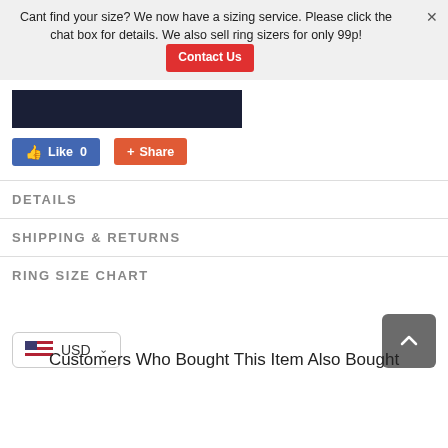Cant find your size? We now have a sizing service. Please click the chat box for details. We also sell ring sizers for only 99p!
[Figure (other): Dark navy rectangular banner/logo block]
[Figure (other): Facebook Like button (blue) showing Like 0, and an orange Share button]
DETAILS
SHIPPING & RETURNS
RING SIZE CHART
[Figure (other): Currency selector widget showing USD with US flag]
[Figure (other): Scroll to top button (gray square with upward chevron)]
Customers Who Bought This Item Also Bought